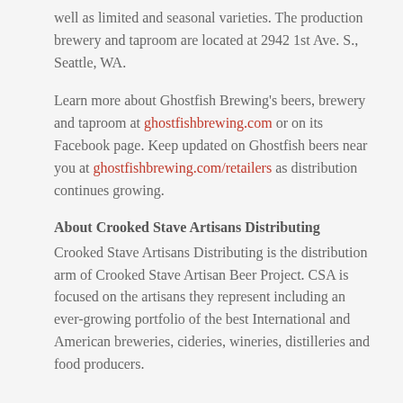well as limited and seasonal varieties. The production brewery and taproom are located at 2942 1st Ave. S., Seattle, WA.
Learn more about Ghostfish Brewing's beers, brewery and taproom at ghostfishbrewing.com or on its Facebook page. Keep updated on Ghostfish beers near you at ghostfishbrewing.com/retailers as distribution continues growing.
About Crooked Stave Artisans Distributing
Crooked Stave Artisans Distributing is the distribution arm of Crooked Stave Artisan Beer Project. CSA is focused on the artisans they represent including an ever-growing portfolio of the best International and American breweries, cideries, wineries, distilleries and food producers.